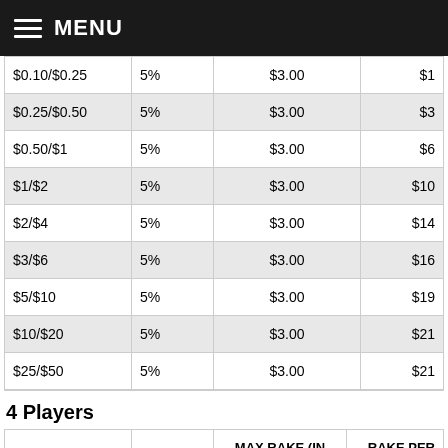MENU
| BLINDS | RAKE % | MAX RAKE (IN USD) | RAKE PER 10... |
| --- | --- | --- | --- |
| $0.10/$0.25 | 5% | $3.00 | $1... |
| $0.25/$0.50 | 5% | $3.00 | $3... |
| $0.50/$1 | 5% | $3.00 | $6... |
| $1/$2 | 5% | $3.00 | $10... |
| $2/$4 | 5% | $3.00 | $14... |
| $3/$6 | 5% | $3.00 | $16... |
| $5/$10 | 5% | $3.00 | $19... |
| $10/$20 | 5% | $3.00 | $21... |
| $25/$50 | 5% | $3.00 | $21... |
4 Players
| BLINDS | RAKE % | MAX RAKE (IN USD) | RAKE PER 10... |
| --- | --- | --- | --- |
| $0.01/$0.02 | 5% | $2.00 | $0... |
| $0.02/$0.05 | 5% | $2.00 | $0... |